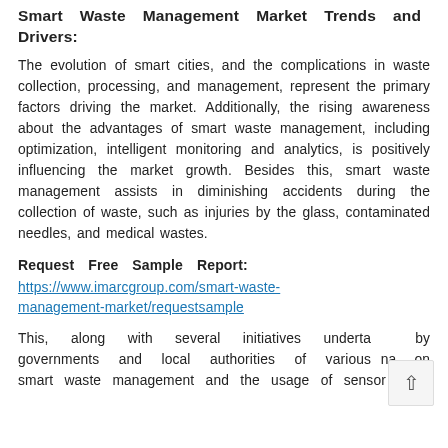Smart Waste Management Market Trends and Drivers:
The evolution of smart cities, and the complications in waste collection, processing, and management, represent the primary factors driving the market. Additionally, the rising awareness about the advantages of smart waste management, including optimization, intelligent monitoring and analytics, is positively influencing the market growth. Besides this, smart waste management assists in diminishing accidents during the collection of waste, such as injuries by the glass, contaminated needles, and medical wastes.
Request Free Sample Report: https://www.imarcgroup.com/smart-waste-management-market/requestsample
This, along with several initiatives undertaken by governments and local authorities of various nations on smart waste management and the usage of sensor